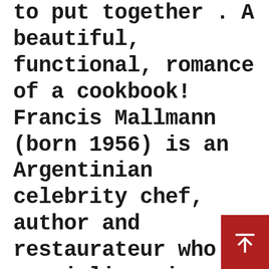to put together . A beautiful, functional, romance of a cookbook! Francis Mallmann (born 1956) is an Argentinian celebrity chef, author and restaurateur who specialises in various Patagonian methods of barbecuing food with open-fires. And now, in Mallmann on Fire, the passionate master of the Argentine grill takes us grilling in magical places—in winter's snow, on mountaintops, on the beach, on the crowded streets of Manhattan, on a deserted island in